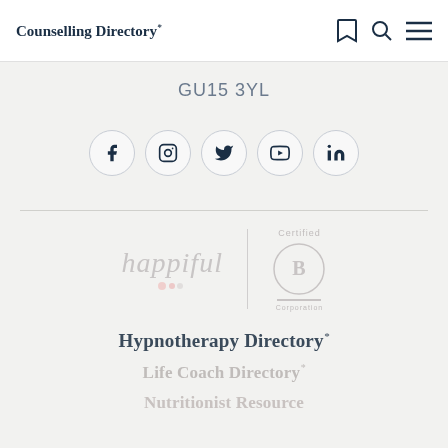Counselling Directory
GU15 3YL
[Figure (infographic): Row of five social media icons in circles: Facebook, Instagram, Twitter, YouTube, LinkedIn]
[Figure (logo): Happiful logo (italic serif font) alongside Certified B Corporation logo]
Hypnotherapy Directory
Life Coach Directory
Nutritionist Resource